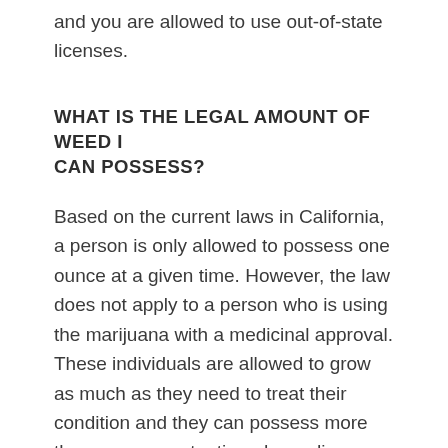and you are allowed to use out-of-state licenses.
WHAT IS THE LEGAL AMOUNT OF WEED I CAN POSSESS?
Based on the current laws in California, a person is only allowed to possess one ounce at a given time. However, the law does not apply to a person who is using the marijuana with a medicinal approval. These individuals are allowed to grow as much as they need to treat their condition and they can possess more than an ounce at a time depending on their doctor's recommendation.
WHERE AM I ABLE TO CONSUME MY MARIJUANA PRODUCTS?